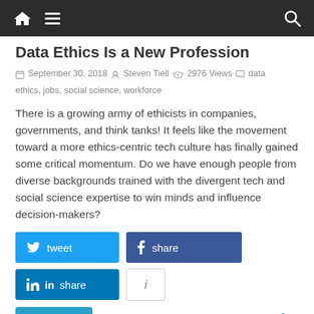Navigation bar with home, menu, and search icons
Data Ethics Is a New Profession
September 30, 2018 · Steven Tiell · 2976 Views · data ethics, jobs, social science, workforce
There is a growing army of ethicists in companies, governments, and think tanks! It feels like the movement toward a more ethics-centric tech culture has finally gained some critical momentum. Do we have enough people from diverse backgrounds trained with the divergent tech and social science expertise to win minds and influence decision-makers?
[Figure (other): Social share buttons: tweet (Twitter), share (Facebook), share (LinkedIn), info button, and Read more button]
Read more